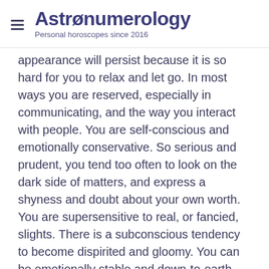Astronumerology — Personal horoscopes since 2016
appearance will persist because it is so hard for you to relax and let go. In most ways you are reserved, especially in communicating, and the way you interact with people. You are self-conscious and emotionally conservative. So serious and prudent, you tend too often to look on the dark side of matters, and express a shyness and doubt about your own worth. You are supersensitive to real, or fancied, slights. There is a subconscious tendency to become dispirited and gloomy. You can be emotionally stable and down-to-earth when things are going okay, but when they aren't, you can be down right depressing. In relationships with others, you are loyal, devoted and highly dependable--but demonstrative you are not. You show you care by being available, by coming home on time, by providing for financial needs--rarely do you express deep emotions or seem to show your love in the more conventional